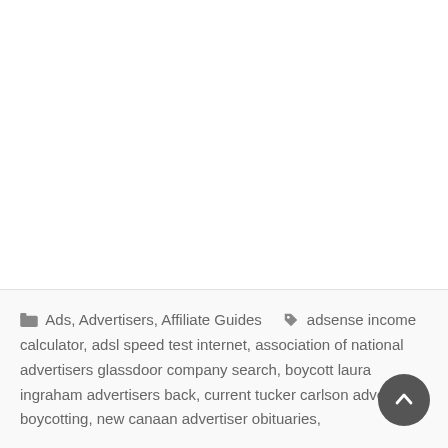Ads, Advertisers, Affiliate Guides  adsense income calculator, adsl speed test internet, association of national advertisers glassdoor company search, boycott laura ingraham advertisers back, current tucker carlson advertisers boycotting, new canaan advertiser obituaries,